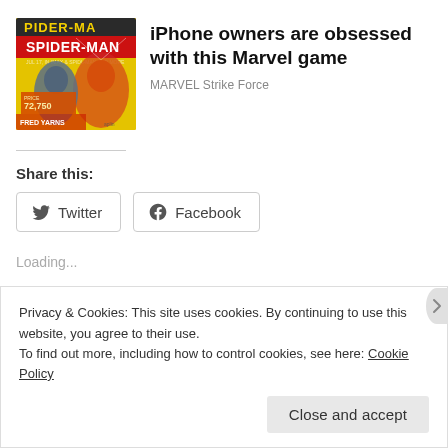[Figure (illustration): Spider-Man advertisement image with yellow/green background showing Spider-Man characters and text 'SPIDER-MA / SPIDER-MAN' with price '72,750']
iPhone owners are obsessed with this Marvel game
MARVEL Strike Force
Share this:
Twitter
Facebook
Loading...
Privacy & Cookies: This site uses cookies. By continuing to use this website, you agree to their use.
To find out more, including how to control cookies, see here: Cookie Policy
Close and accept